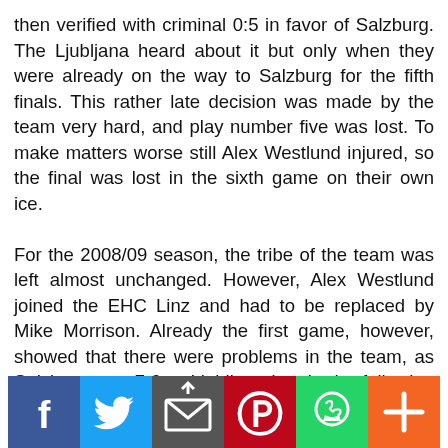then verified with criminal 0:5 in favor of Salzburg. The Ljubljana heard about it but only when they were already on the way to Salzburg for the fifth finals. This rather late decision was made by the team very hard, and play number five was lost. To make matters worse still Alex Westlund injured, so the final was lost in the sixth game on their own ice.

For the 2008/09 season, the tribe of the team was left almost unchanged. However, Alex Westlund joined the EHC Linz and had to be replaced by Mike Morrison. Already the first game, however, showed that there were problems in the team, as Salzburg won 7-0 at Ljubljana ice. In the following years, the achievements of the team not stabilized. Mike Morrison was replaced during the season by Marko Kadach and t...
[Figure (other): Social media sharing bar with icons for Facebook, Twitter, email/share, Pinterest, WhatsApp, and a plus/more button]